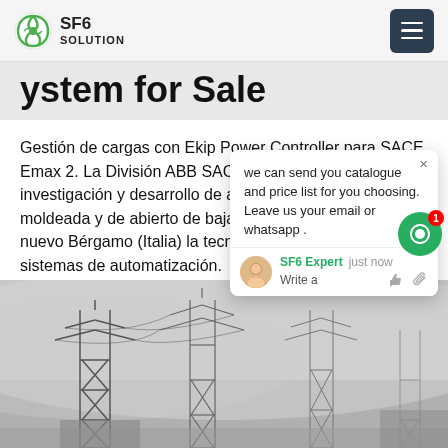SF6 SOLUTION
ystem for Sale
Gestión de cargas con Ekip Power Controller para SACE Emax 2. La División ABB SACE, empresa líder en investigación y desarrollo de automáticos en caja moldeada y de abierto de baja tensión, instaló en su nuevo Bérgamo (Italia) la tecnología más avanzada en sistemas de automatización.
[Figure (screenshot): Chat widget overlay with message: 'we can send you catalogue and price list for you choosing. Leave us your email or whatsapp.' with SF6 Expert agent and just now timestamp.]
[Figure (photo): Photo of electrical transmission towers/pylons in foggy conditions.]